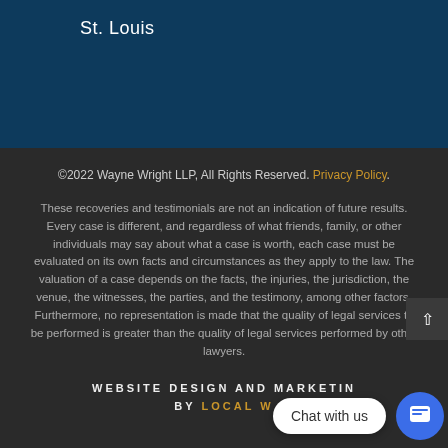St. Louis
©2022 Wayne Wright LLP, All Rights Reserved. Privacy Policy.
These recoveries and testimonials are not an indication of future results. Every case is different, and regardless of what friends, family, or other individuals may say about what a case is worth, each case must be evaluated on its own facts and circumstances as they apply to the law. The valuation of a case depends on the facts, the injuries, the jurisdiction, the venue, the witnesses, the parties, and the testimony, among other factors. Furthermore, no representation is made that the quality of legal services to be performed is greater than the quality of legal services performed by other lawyers.
WEBSITE DESIGN AND MARKETING BY LOCAL W...